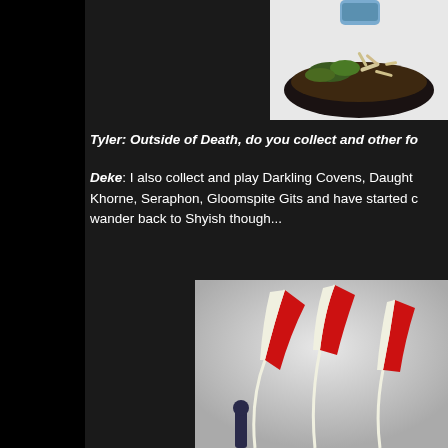[Figure (photo): Close-up photo of a miniature figure base with bones, moss, and dark soil texture on a white background, partially cropped at top right]
Tyler: Outside of Death, do you collect and other fa...
Deke: I also collect and play Darkling Covens, Daughters of Khorne, Seraphon, Gloomspite Gits and have started o... wander back to Shyish though...
[Figure (photo): Photo showing painted miniature figures with tall red and white striped banners/spears against a light grey background, partially cropped]